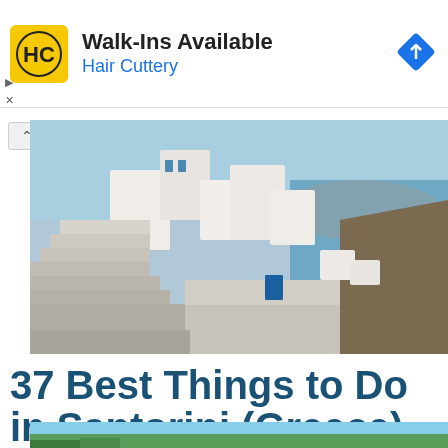[Figure (advertisement): Hair Cuttery ad banner with yellow logo showing HC letters, text 'Walk-Ins Available' and 'Hair Cuttery' in blue, and a blue navigation diamond icon on the right]
[Figure (photo): Scenic photo of Santorini Greece showing white-washed buildings and stairs cascading down a cliff with the blue Aegean Sea and mountains in the background]
37 Best Things to Do in Santorini (Greece)
[Figure (photo): Partial bottom strip showing another Santorini photo with blue sky]